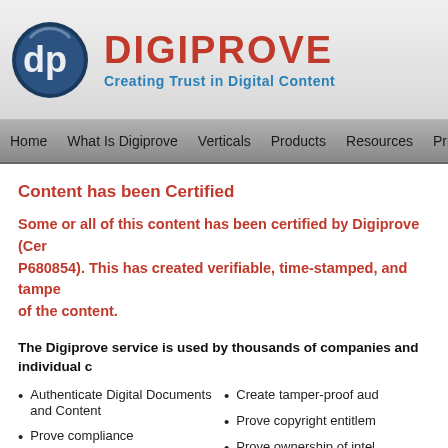[Figure (logo): Digiprove circular logo with 'dp' letters in blue/grey circle, company name DIGIPROVE in red bold and tagline 'Creating Trust in Digital Content' in blue]
Home  What Is Digiprove  Verticals  Products  Resources  Pricing
Content has been Certified
Some or all of this content has been certified by Digiprove (Certificate number P680854). This has created verifiable, time-stamped, and tamper-proof records of the content.
The Digiprove service is used by thousands of companies and individual c
Authenticate Digital Documents and Content
Prove compliance
Prove data integrity
Protect legal position
Create tamper-proof aud
Prove copyright entitlem
Prove ownership of intel